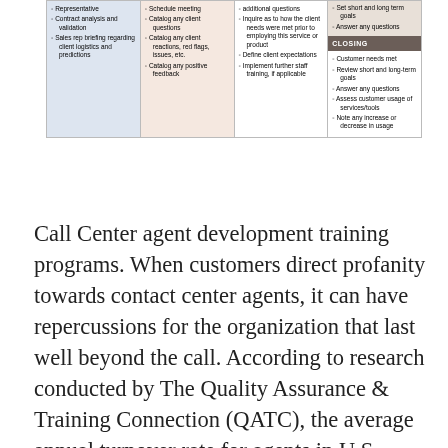|  |  |  |  |
| --- | --- | --- | --- |
| Representative
◦ Contract analysis and validation
◦ Sales rep briefing regarding client logistics and predictions | ◦ Schedule meeting
◦ Catalog any client questions
◦ Catalog any client reactions, red flags, issues, etc.
◦ Catalog any positive feedback | additional questions
◦ Inquire as to how the client needs were met prior to employing this service or product
◦ Define client expectations
◦ Implement further staff training, if applicable | ◦ Set short and long term goals
◦ Answer any questions
[CLOSING]
◦ Customer needs met
◦ Review short and long-term goals
◦ Answer any questions
◦ Assess customer usage of services/tools
◦ Note any increase or decrease in usage |
Call Center agent development training programs. When customers direct profanity towards contact center agents, it can have repercussions for the organization that last well beyond the call. According to research conducted by The Quality Assurance & Training Connection (QATC), the average annual turnover rate for agents in U.S. contact centers ranges